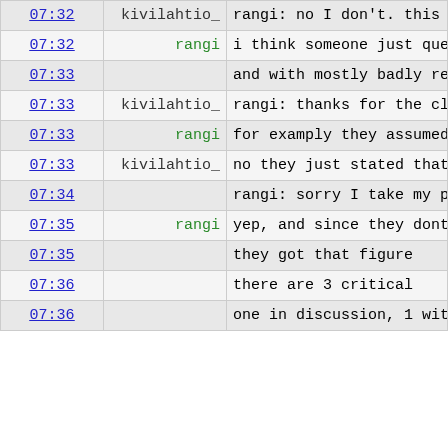| time | nick | message |
| --- | --- | --- |
| 07:32 | kivilahtio_ | rangi: no I don't. this i would like to hear your v |
| 07:32 | rangi | i think someone just quer to some conclusions |
| 07:33 |  | and with mostly badly res wrong one |
| 07:33 | kivilahtio_ | rangi: thanks for the cla |
| 07:33 | rangi | for examply they assumed t requests not in closed sta |
| 07:33 | kivilahtio_ | no they just stated that :) |
| 07:34 |  | rangi: sorry I take my pr |
| 07:35 | rangi | yep, and since they dont master and pushed to stab |
| 07:35 |  | they got that figure |
| 07:36 |  | there are 3 critical |
| 07:36 |  | one in discussion, 1 with testing and one new |